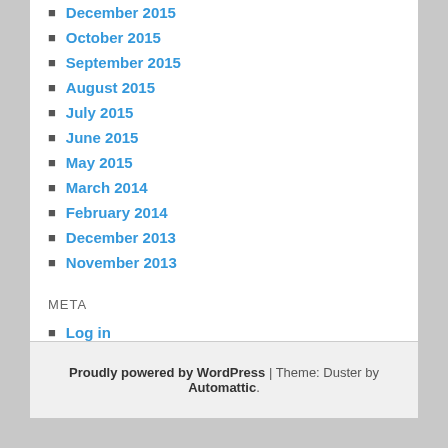December 2015
October 2015
September 2015
August 2015
July 2015
June 2015
May 2015
March 2014
February 2014
December 2013
November 2013
META
Log in
Proudly powered by WordPress | Theme: Duster by Automattic.